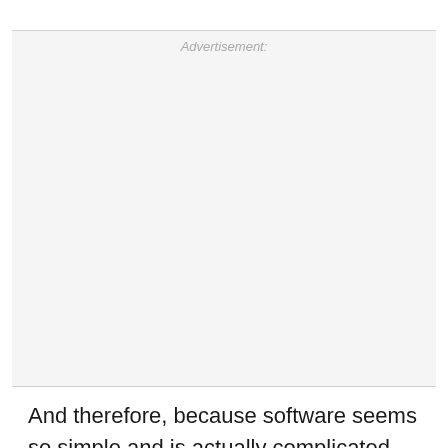[Figure (other): Advertisement placeholder block with light gray background and horizontal border lines, labeled 'Advertisement:' in gray italic text at the top center]
And therefore, because software seems so simple and is actually complicated, you can't implement it until you